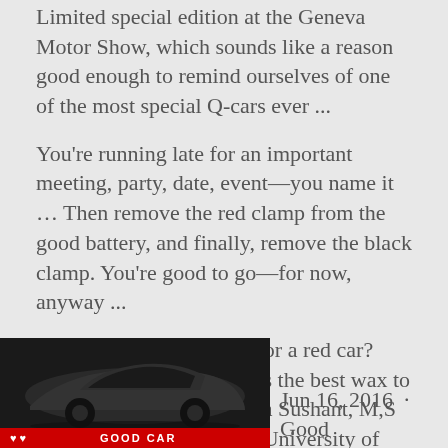Limited special edition at the Geneva Motor Show, which sounds like a reason good enough to remind ourselves of one of the most special Q-cars ever ...
You're running late for an important meeting, party, date, event—you name it … Then remove the red clamp from the good battery, and finally, remove the black clamp. You're good to go—for now, anyway ...
What are the best names for a red car? Update Cancel. … What is the best wax to use on red cars? Thotakura Sushant, M,S Mechanical Engineering, University of Cincinnati (2019) … What are good names for cars? What are some cute names for cars? What is the best name for a red electric car?
[Figure (photo): Black and white photo of a sleek sports car with a red banner/stripe at the bottom]
Jun 16, 2016  · Good